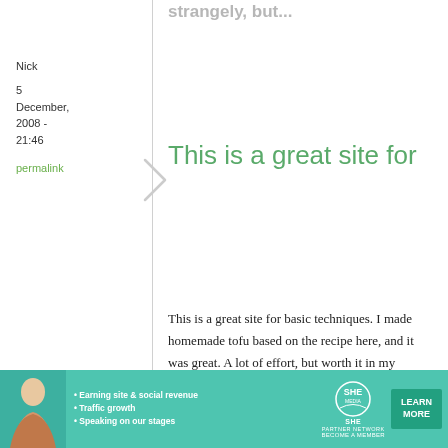Nick
5 December, 2008 - 21:46
permalink
This is a great site for
This is a great site for basic techniques. I made homemade tofu based on the recipe here, and it was great. A lot of effort, but worth it in my opinion.
[Figure (infographic): SHE Partner Network advertisement banner with woman photo, bullets about Earning site & social revenue, Traffic growth, Speaking on our stages, SHE logo, and LEARN MORE button]